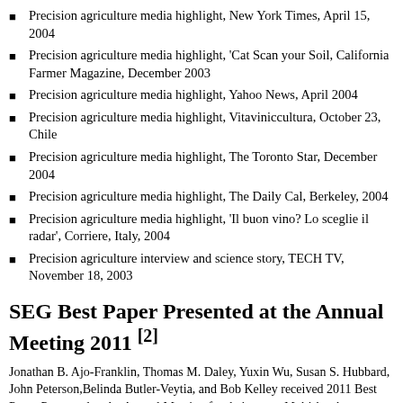Precision agriculture media highlight, New York Times, April 15, 2004
Precision agriculture media highlight, 'Cat Scan your Soil, California Farmer Magazine, December 2003
Precision agriculture media highlight, Yahoo News, April 2004
Precision agriculture media highlight, Vitaviniccultura, October 23, Chile
Precision agriculture media highlight, The Toronto Star, December 2004
Precision agriculture media highlight, The Daily Cal, Berkeley, 2004
Precision agriculture media highlight, 'Il buon vino? Lo sceglie il radar', Corriere, Italy, 2004
Precision agriculture interview and science story, TECH TV, November 18, 2003
SEG Best Paper Presented at the Annual Meeting 2011 [2]
Jonathan B. Ajo-Franklin, Thomas M. Daley, Yuxin Wu, Susan S. Hubbard, John Peterson,Belinda Butler-Veytia, and Bob Kelley received 2011 Best Paper Presented at the Annual Meeting for their paper Multi-level continuous active source seismic monitoring (ML-CASSM):...